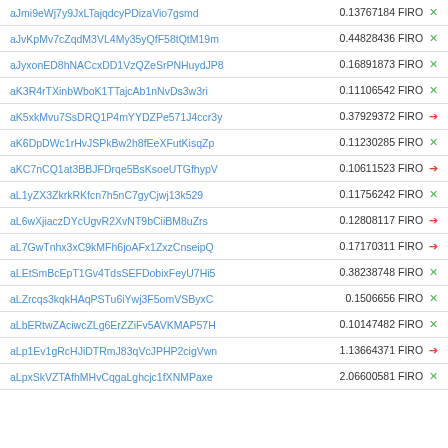| Name | Value |
| --- | --- |
| aJmi9eWj7y9JxLTajqdcyPDizaVio7gsmd | 0.13767184 FIRO × |
| aJvKpMv7cZqdM3VL4My35yQfF58tQtM19m | 0.44828436 FIRO × |
| aJyxonED8hNACcxDD1VzQZeSrPNHuydJP8 | 0.16891873 FIRO × |
| aK3R4rTXinbWboK1TTajcAb1nNvDs3w3ri | 0.11106542 FIRO × |
| aK5xkMvu7SsDRQ1P4mYYDZPe571J4ccr3y | 0.37929372 FIRO → |
| aK6DpDWc1rHvJSPkBw2h8fEeXFutKisqZp | 0.11230285 FIRO × |
| aKC7nCQ1at3BBJFDrqe5BsKsoeUTGfhypV | 0.10611523 FIRO → |
| aL1yZX3ZkrkRKfcn7h5nC7gyCjwj13k529 | 0.11756242 FIRO × |
| aL6wXjiaczDYcUgvR2XvNT9bCiiBM8uZrs | 0.12808117 FIRO → |
| aL7GwTnhx3xC9kMFh6joAFx1ZxzCnseipQ | 0.17170311 FIRO → |
| aLEtSmBcEpT1Gv4TdsSEFDobixFeyU7Hi5 | 0.38238748 FIRO × |
| aLZrcqs3kqkHAqPSTu6iYwj3F5omVSByxC | 0.1506656 FIRO × |
| aLbERtwZAciwcZLg6ErZZiFv5AVKMAP57H | 0.10147482 FIRO × |
| aLp1Ev1gRcHJiDTRmJ83qVcJPHP2cigVwn | 1.13664371 FIRO → |
| aLpxSkVZTAfhMHvCqgaLghcjc1fXNMPaxe | 2.06600581 FIRO × |